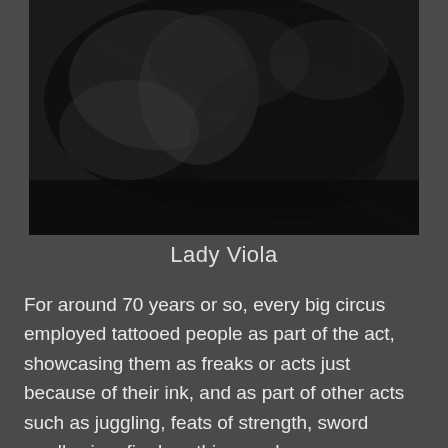[Figure (photo): Black and white vintage photograph showing a person, partially visible, in a dark setting. Historical circus-era photograph, likely of Lady Viola.]
Lady Viola
For around 70 years or so, every big circus employed tattooed people as part of the act, showcasing them as freaks or acts just because of their ink, and as part of other acts such as juggling, feats of strength, sword swallowing, fire breathing, and more. Tattooed people made good money travelling with a circus as different circuses had rivalries